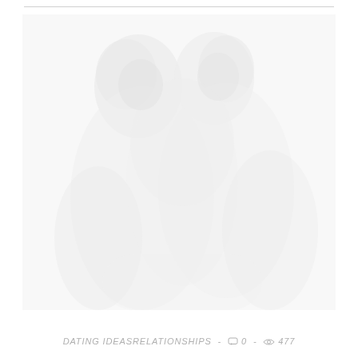[Figure (photo): A very faint, washed-out photograph of two people close together, rendered in very light gray tones on a white background, barely visible.]
DATING IDEAS RELATIONSHIPS  -  0  -  477